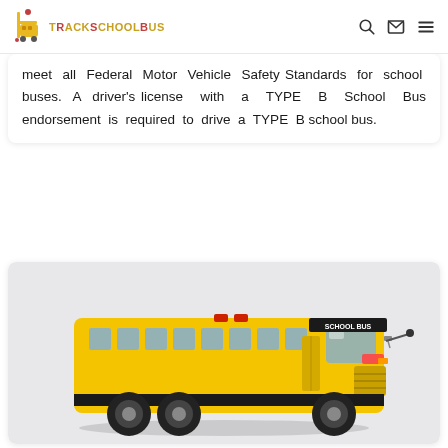TrackSchoolBus
meet all Federal Motor Vehicle Safety Standards for school buses. A driver's license with a TYPE B School Bus endorsement is required to drive a TYPE B school bus.
[Figure (photo): A yellow school bus photographed from a three-quarter front angle on a light grey background. The bus displays 'SCHOOL BUS' text on its front.]